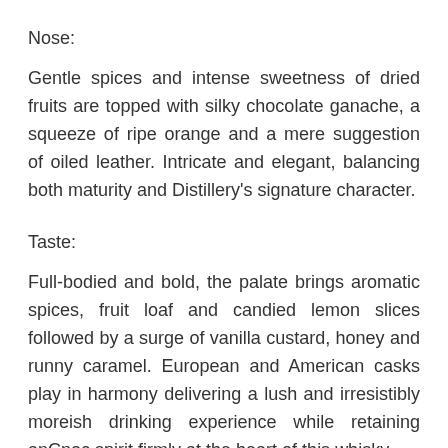Nose:
Gentle spices and intense sweetness of dried fruits are topped with silky chocolate ganache, a squeeze of ripe orange and a mere suggestion of oiled leather. Intricate and elegant, balancing both maturity and Distillery's signature character.
Taste:
Full-bodied and bold, the palate brings aromatic spices, fruit loaf and candied lemon slices followed by a surge of vanilla custard, honey and runny caramel. European and American casks play in harmony delivering a lush and irresistibly moreish drinking experience while retaining anCnoc spirit firmly at the heart of this whisky.